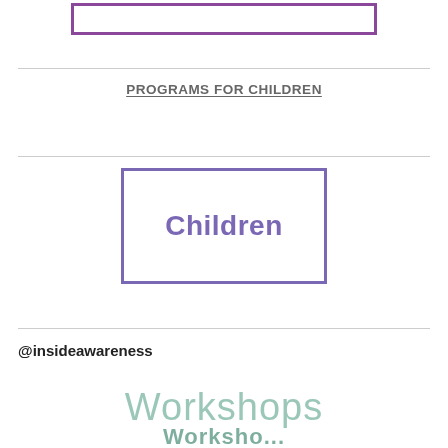[Figure (other): Purple-bordered rectangle box at top of page, partially visible]
PROGRAMS FOR CHILDREN
[Figure (other): Purple-bordered rectangle box containing the word 'Children' in purple bold text]
@insideawareness
Workshops